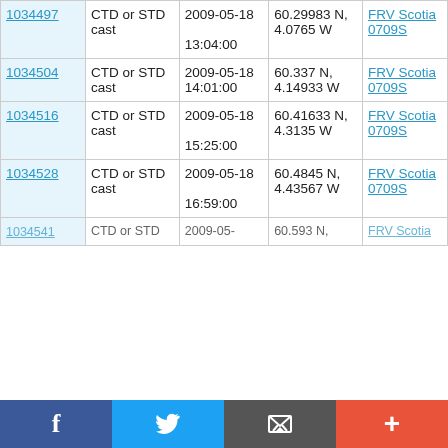| ID | Type | Date/Time | Position | Cruise |
| --- | --- | --- | --- | --- |
| 1034497 | CTD or STD cast | 2009-05-18 13:04:00 | 60.29983 N, 4.0765 W | FRV Scotia 0709S |
| 1034504 | CTD or STD cast | 2009-05-18 14:01:00 | 60.337 N, 4.14933 W | FRV Scotia 0709S |
| 1034516 | CTD or STD cast | 2009-05-18 15:25:00 | 60.41633 N, 4.3135 W | FRV Scotia 0709S |
| 1034528 | CTD or STD cast | 2009-05-18 16:59:00 | 60.4845 N, 4.43567 W | FRV Scotia 0709S |
| 1034541 | CTD or STD | 2009-05- | 60.593 N, | FRV Scotia |